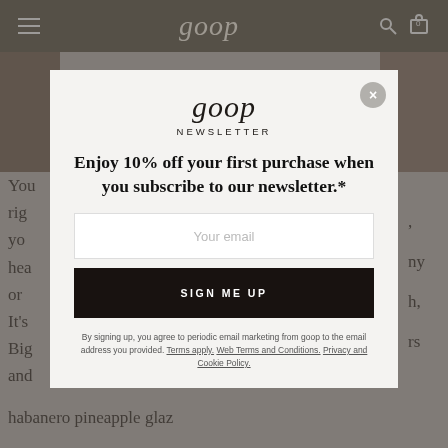goop
[Figure (screenshot): Goop website newsletter signup modal overlay on a blurred webpage background]
goop
NEWSLETTER
Enjoy 10% off your first purchase when you subscribe to our newsletter.*
Your email
SIGN ME UP
By signing up, you agree to periodic email marketing from goop to the email address you provided. Terms apply. Web Terms and Conditions. Privacy and Cookie Policy.